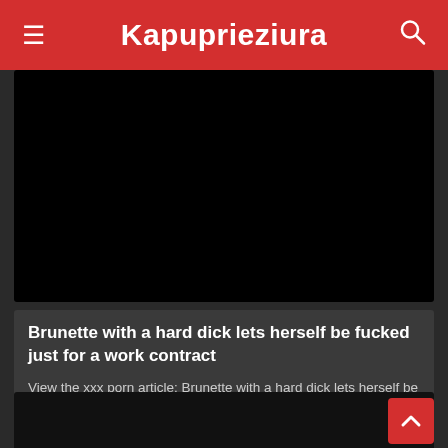Kapuprieziura
[Figure (photo): Black video thumbnail placeholder at top of page]
Brunette with a hard dick lets herself be fucked just for a work contract
View the xxx porn article: Brunette with a hard dick lets herself be fucked just for a work contract, XNXX Sex Stories. On your favorite porn news site KAPUPRIEZIURA.INFO!
3 Views · Likes 0
[Figure (photo): Black video thumbnail placeholder at bottom of page]